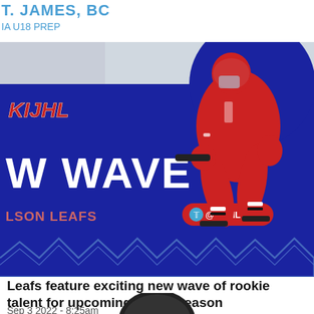T. JAMES, BC
IA U18 PREP
[Figure (photo): KIJHL promotional graphic with blue background, KIJHL logo, 'NEW WAVE' text, NELSON LEAFS team name, @KIJHL Twitter handle badge, mountain wave decoration, and a hockey player in red uniform skating on the right side]
Leafs feature exciting new wave of rookie talent for upcoming KIJHL season
Sep 3 2022 - 8:25am
[Figure (photo): Partial dark hockey helmet visible at bottom of page]